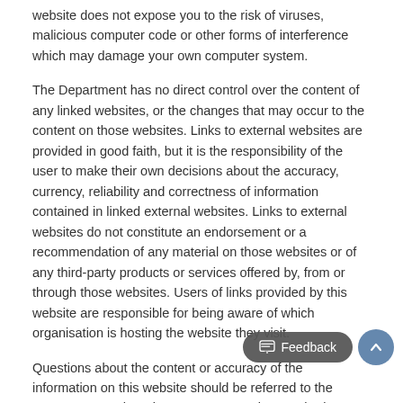website does not expose you to the risk of viruses, malicious computer code or other forms of interference which may damage your own computer system.
The Department has no direct control over the content of any linked websites, or the changes that may occur to the content on those websites. Links to external websites are provided in good faith, but it is the responsibility of the user to make their own decisions about the accuracy, currency, reliability and correctness of information contained in linked external websites. Links to external websites do not constitute an endorsement or a recommendation of any material on those websites or of any third-party products or services offered by, from or through those websites. Users of links provided by this website are responsible for being aware of which organisation is hosting the website they visit.
Questions about the content or accuracy of the information on this website should be referred to the Department or the relevant state or territory authority.
2. Skills@Work Newsletter Disclaimer
The views expressed in articles contained in this newsletter, submitted by individuals or organisations external to the Department of Employment